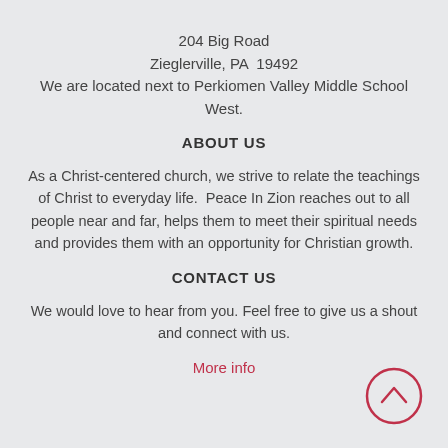204 Big Road
Zieglerville, PA  19492
We are located next to Perkiomen Valley Middle School West.
ABOUT US
As a Christ-centered church, we strive to relate the teachings of Christ to everyday life.  Peace In Zion reaches out to all people near and far, helps them to meet their spiritual needs and provides them with an opportunity for Christian growth.
CONTACT US
We would love to hear from you. Feel free to give us a shout and connect with us.
More info
[Figure (illustration): A circular scroll-up button with a chevron/caret arrow pointing upward, outlined in red/crimson color.]